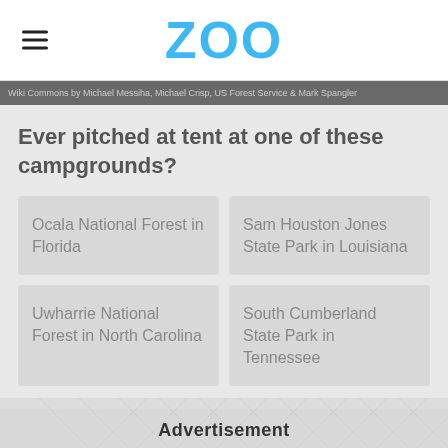ZOO
Wiki Commons by Michael Messiha, Michael Crisp, US Forest Service & Mark Spangler
Ever pitched at tent at one of these campgrounds?
Ocala National Forest in Florida
Sam Houston Jones State Park in Louisiana
Uwharrie National Forest in North Carolina
South Cumberland State Park in Tennessee
Advertisement